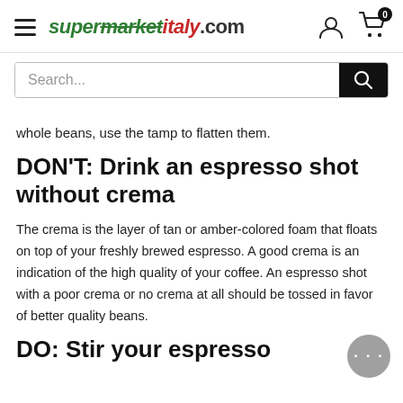supermarketitaly.com
whole beans, use the tamp to flatten them.
DON'T: Drink an espresso shot without crema
The crema is the layer of tan or amber-colored foam that floats on top of your freshly brewed espresso. A good crema is an indication of the high quality of your coffee. An espresso shot with a poor crema or no crema at all should be tossed in favor of better quality beans.
DO: Stir your espresso